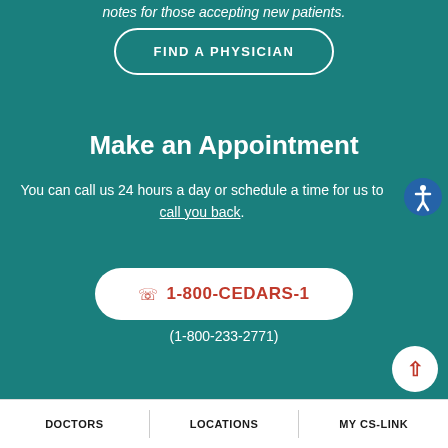notes for those accepting new patients.
FIND A PHYSICIAN
Make an Appointment
You can call us 24 hours a day or schedule a time for us to call you back.
1-800-CEDARS-1
(1-800-233-2771)
DOCTORS   LOCATIONS   MY CS-LINK